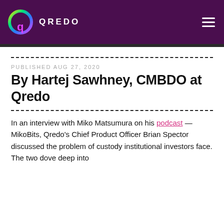QREDO
PUBLISHED AUG 27, 2020
By Hartej Sawhney, CMBDO at Qredo
In an interview with Miko Matsumura on his podcast — MikoBits, Qredo's Chief Product Officer Brian Spector discussed the problem of custody institutional investors face. The two dove deep into